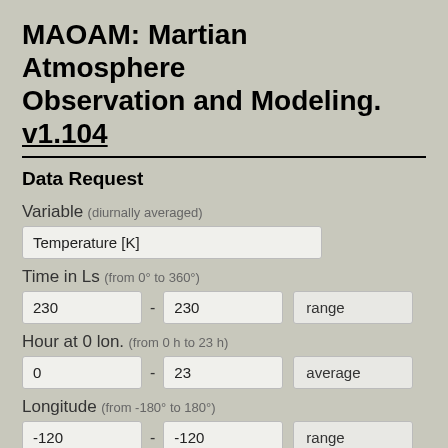MAOAM: Martian Atmosphere Observation and Modeling. v1.104
Data Request
Variable (diurnally averaged)
Temperature [K]
Time in Ls (from 0° to 360°)
230 - 230  range
Hour at 0 lon. (from 0 h to 23 h)
0 - 23  average
Longitude (from -180° to 180°)
-120 - -120  range
Latitude (from -90° to 90°)
-50 - 85  range